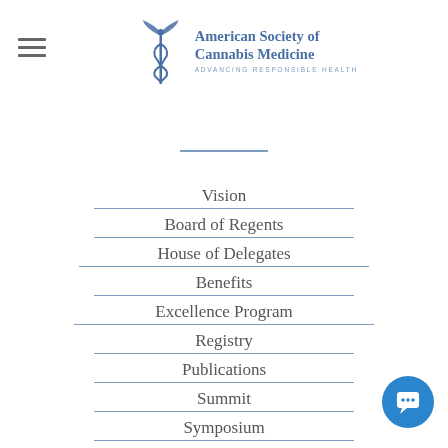[Figure (logo): American Society of Cannabis Medicine logo with caduceus symbol and text 'ADVANCING RESPONSIBLE HEALTH']
Vision
Board of Regents
House of Delegates
Benefits
Excellence Program
Registry
Publications
Summit
Symposium
Membership
Physician Membership
Affiliate Membership
Researcher Membership